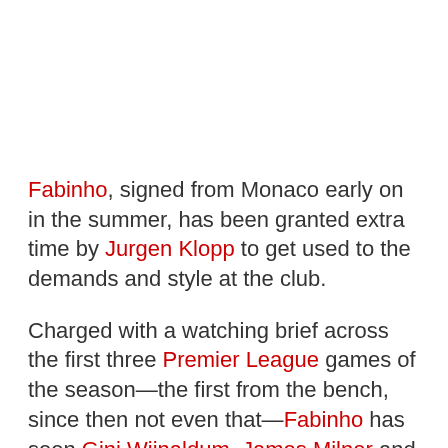Fabinho, signed from Monaco early on in the summer, has been granted extra time by Jurgen Klopp to get used to the demands and style at the club.
Charged with a watching brief across the first three Premier League games of the season—the first from the bench, since then not even that—Fabinho has seen Gini Wijnaldum, James Milner and Naby Keita fill the central midfield.